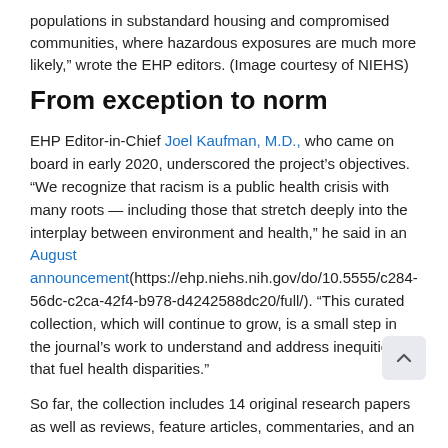populations in substandard housing and compromised communities, where hazardous exposures are much more likely," wrote the EHP editors. (Image courtesy of NIEHS)
From exception to norm
EHP Editor-in-Chief Joel Kaufman, M.D., who came on board in early 2020, underscored the project’s objectives. “We recognize that racism is a public health crisis with many roots — including those that stretch deeply into the interplay between environment and health,” he said in an August announcement(https://ehp.niehs.nih.gov/do/10.5555/c28456dc-c2ca-42f4-b978-d4242588dc20/full/). “This curated collection, which will continue to grow, is a small step in the journal’s work to understand and address inequities that fuel health disparities.”
So far, the collection includes 14 original research papers as well as reviews, feature articles, commentaries, and an